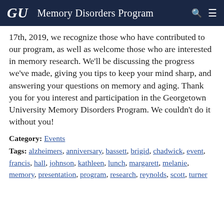GU  Memory Disorders Program
17th, 2019, we recognize those who have contributed to our program, as well as welcome those who are interested in memory research. We'll be discussing the progress we've made, giving you tips to keep your mind sharp, and answering your questions on memory and aging. Thank you for you interest and participation in the Georgetown University Memory Disorders Program. We couldn't do it without you!
Category: Events
Tags: alzheimers, anniversary, bassett, brigid, chadwick, event, francis, hall, johnson, kathleen, lunch, margarett, melanie, memory, presentation, program, research, reynolds, scott, turner